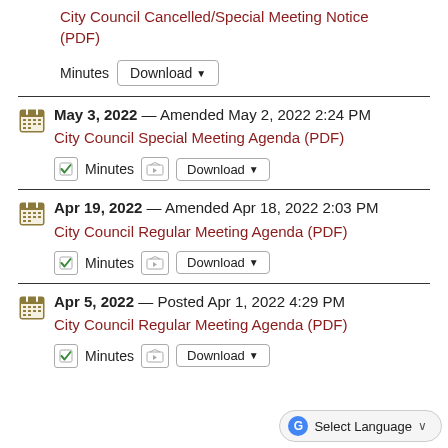City Council Cancelled/Special Meeting Notice (PDF)
Minutes  Download
May 3, 2022 — Amended May 2, 2022 2:24 PM
City Council Special Meeting Agenda (PDF)
Minutes  Download
Apr 19, 2022 — Amended Apr 18, 2022 2:03 PM
City Council Regular Meeting Agenda (PDF)
Minutes  Download
Apr 5, 2022 — Posted Apr 1, 2022 4:29 PM
City Council Regular Meeting Agenda (PDF)
Minutes  Download
Select Language